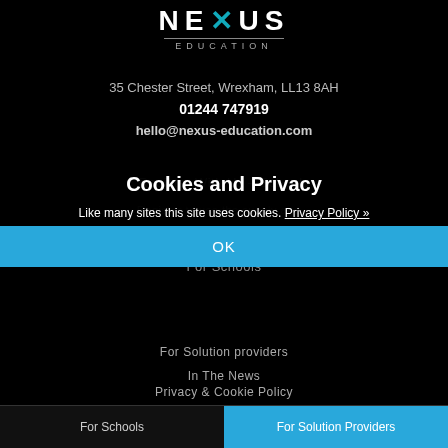[Figure (logo): Nexus Education logo with teal X graphic and EDUCATION subtitle]
35 Chester Street, Wrexham, LL13 8AH
01244 747919
hello@nexus-education.com
Cookies and Privacy
Like many sites this site uses cookies. Privacy Policy »
OK
Register With Us – Schools
About Us
For Schools
For Solution providers
In The News
Privacy & Cookie Policy
For Schools | For Solution Providers